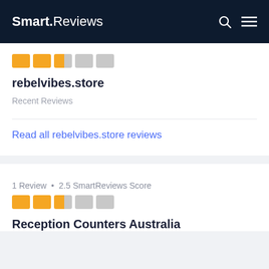Smart.Reviews
[Figure (other): Star rating bar showing 2.5 out of 5 stars (orange blocks for filled stars, grey blocks for empty)]
rebelvibes.store
Recent Reviews
Read all rebelvibes.store reviews
1 Review • 2.5 SmartReviews Score
[Figure (other): Star rating bar showing 2.5 out of 5 stars (orange blocks for filled stars, grey blocks for empty)]
Reception Counters Australia